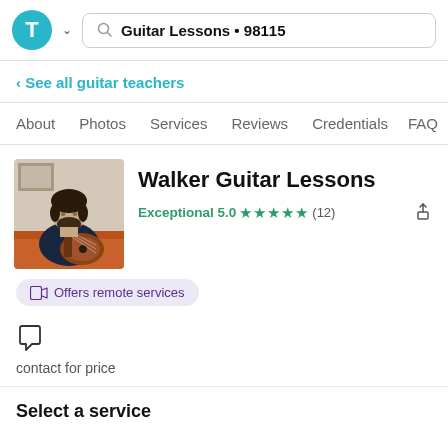Guitar Lessons • 98115
< See all guitar teachers
About  Photos  Services  Reviews  Credentials  FAQ
[Figure (photo): Photo of a man playing electric guitar on an orange couch]
Walker Guitar Lessons
Exceptional 5.0 ★★★★★ (12)
Offers remote services
contact for price
Select a service